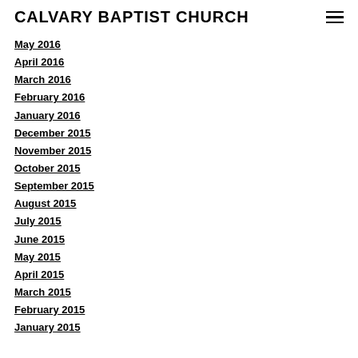CALVARY BAPTIST CHURCH
May 2016
April 2016
March 2016
February 2016
January 2016
December 2015
November 2015
October 2015
September 2015
August 2015
July 2015
June 2015
May 2015
April 2015
March 2015
February 2015
January 2015